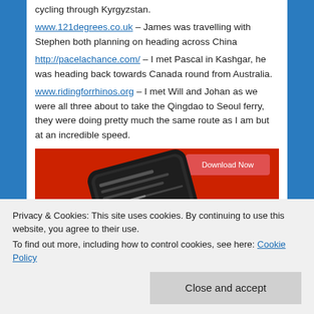cycling through Kyrgyzstan.
www.121degrees.co.uk – James was travelling with Stephen both planning on heading across China
http://pacelachance.com/ – I met Pascal in Kashgar, he was heading back towards Canada round from Australia.
www.ridingforrhinos.org – I met Will and Johan as we were all three about to take the Qingdao to Seoul ferry, they were doing pretty much the same route as I am but at an incredible speed.
[Figure (screenshot): A smartphone with a red case displayed on a red background, showing a media player interface with pause/play controls and text. A 'Download Now' button is visible in the upper right.]
Privacy & Cookies: This site uses cookies. By continuing to use this website, you agree to their use.
To find out more, including how to control cookies, see here: Cookie Policy
Close and accept